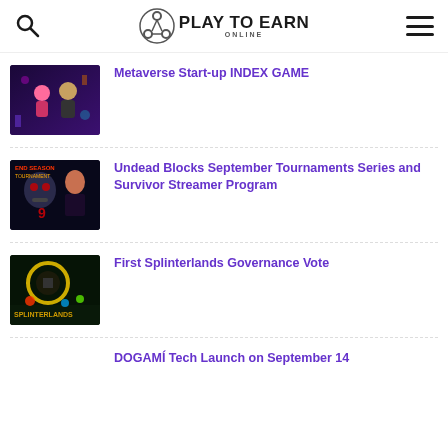PLAY TO EARN ONLINE
Metaverse Start-up INDEX GAME
Undead Blocks September Tournaments Series and Survivor Streamer Program
First Splinterlands Governance Vote
DOGAMÍ Tech Launch on September 14